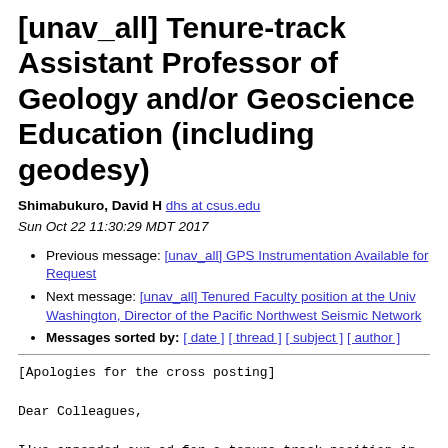[unav_all] Tenure-track Assistant Professor of Geology and/or Geoscience Education (including geodesy)
Shimabukuro, David H dhs at csus.edu
Sun Oct 22 11:30:29 MDT 2017
Previous message: [unav_all] GPS Instrumentation Available for Request
Next message: [unav_all] Tenured Faculty position at the Univ Washington, Director of the Pacific Northwest Seismic Network
Messages sorted by: [ date ] [ thread ] [ subject ] [ author ]
[Apologies for the cross posting]

Dear Colleagues,

I've appended our ad for a tenure-track position in
Geology and/or Geoscience Education. Applications are